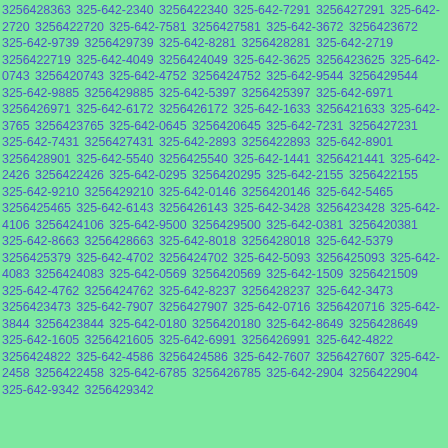3256428363 325-642-2340 3256422340 325-642-7291 3256427291 325-642-2720 3256422720 325-642-7581 3256427581 325-642-3672 3256423672 325-642-9739 3256429739 325-642-8281 3256428281 325-642-2719 3256422719 325-642-4049 3256424049 325-642-3625 3256423625 325-642-0743 3256420743 325-642-4752 3256424752 325-642-9544 3256429544 325-642-9885 3256429885 325-642-5397 3256425397 325-642-6971 3256426971 325-642-6172 3256426172 325-642-1633 3256421633 325-642-3765 3256423765 325-642-0645 3256420645 325-642-7231 3256427231 325-642-7431 3256427431 325-642-2893 3256422893 325-642-8901 3256428901 325-642-5540 3256425540 325-642-1441 3256421441 325-642-2426 3256422426 325-642-0295 3256420295 325-642-2155 3256422155 325-642-9210 3256429210 325-642-0146 3256420146 325-642-5465 3256425465 325-642-6143 3256426143 325-642-3428 3256423428 325-642-4106 3256424106 325-642-9500 3256429500 325-642-0381 3256420381 325-642-8663 3256428663 325-642-8018 3256428018 325-642-5379 3256425379 325-642-4702 3256424702 325-642-5093 3256425093 325-642-4083 3256424083 325-642-0569 3256420569 325-642-1509 3256421509 325-642-4762 3256424762 325-642-8237 3256428237 325-642-3473 3256423473 325-642-7907 3256427907 325-642-0716 3256420716 325-642-3844 3256423844 325-642-0180 3256420180 325-642-8649 3256428649 325-642-1605 3256421605 325-642-6991 3256426991 325-642-4822 3256424822 325-642-4586 3256424586 325-642-7607 3256427607 325-642-2458 3256422458 325-642-6785 3256426785 325-642-2904 3256422904 325-642-9342 3256429342